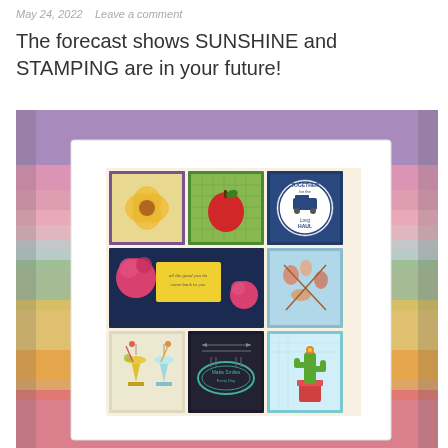May 24, 2022   Leave a comment
The forecast shows SUNSHINE and STAMPING are in your future!
[Figure (photo): A framed collage of stamped card panels displayed inside a white picture frame set against a colorful watercolor background (purple, pink, yellow, teal, green). The collage contains nine square panels arranged in a 3x3 grid: a yellow flower, a red apple on green, a circular 'Together for the Long Haul' van stamp, a wide center panel with a pink rose, yellow tag reading 'all the good you do comes back to you' and a pink flower, a floral/craft panel, tropical cocktail drinks, a dark panel with arrows and 'Make Smiles Every Day', and a potted cactus.]